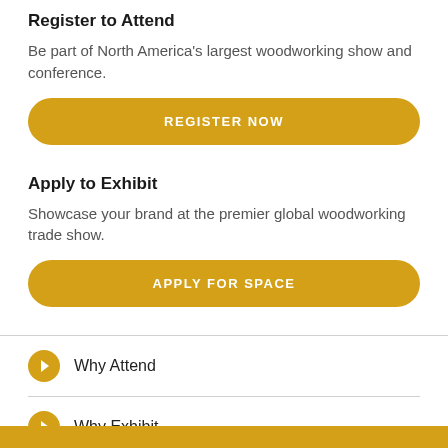Register to Attend
Be part of North America’s largest woodworking show and conference.
[Figure (other): Yellow rounded button with text REGISTER NOW]
Apply to Exhibit
Showcase your brand at the premier global woodworking trade show.
[Figure (other): Yellow rounded button with text APPLY FOR SPACE]
Why Attend
Why Exhibit
About the Show